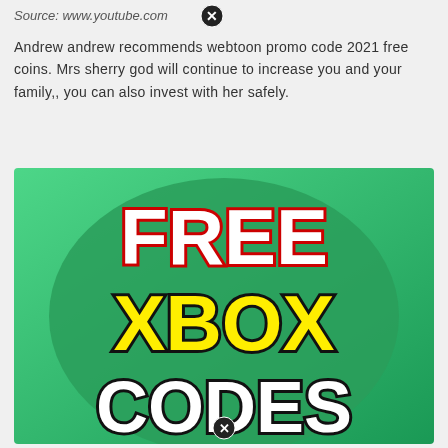Source: www.youtube.com
Andrew andrew recommends webtoon promo code 2021 free coins. Mrs sherry god will continue to increase you and your family,, you can also invest with her safely.
[Figure (illustration): Green gradient background image with large bold text reading FREE XBOX CODES. FREE is in white letters with red outline, XBOX is in yellow letters with black outline, CODES is in white letters with black outline. A large darker green circle is in the center background.]